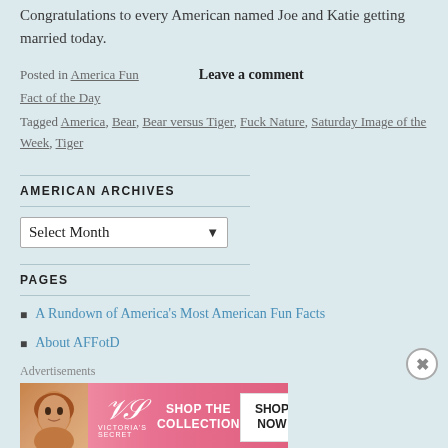Congratulations to every American named Joe and Katie getting married today.
Posted in America Fun Fact of the Day   Leave a comment
Tagged America, Bear, Bear versus Tiger, Fuck Nature, Saturday Image of the Week, Tiger
AMERICAN ARCHIVES
Select Month
PAGES
A Rundown of America's Most American Fun Facts
About AFFotD
Advertisements
[Figure (other): Victoria's Secret advertisement banner with model, VS logo, 'SHOP THE COLLECTION' text and 'SHOP NOW' button]